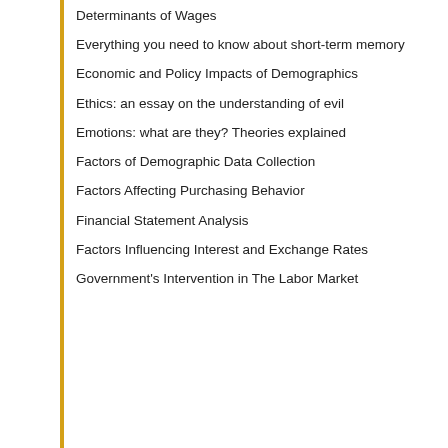Determinants of Wages
Everything you need to know about short-term memory
Economic and Policy Impacts of Demographics
Ethics: an essay on the understanding of evil
Emotions: what are they? Theories explained
Factors of Demographic Data Collection
Factors Affecting Purchasing Behavior
Financial Statement Analysis
Factors Influencing Interest and Exchange Rates
Government's Intervention in The Labor Market